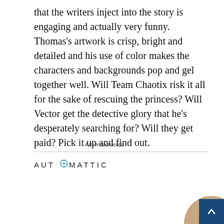that the writers inject into the story is engaging and actually very funny. Thomas's artwork is crisp, bright and detailed and his use of color makes the characters and backgrounds pop and gel together well. Will Team Chaotix risk it all for the sake of rescuing the princess? Will Vector get the detective glory that he's desperately searching for? Will they get paid? Pick it up and find out.
Advertisements
[Figure (logo): Automattic logo with stylized letter O containing a compass/target symbol]
[Figure (infographic): Automattic advertisement: 'Build a better web and a better world.' with Apply button and photo of a man]